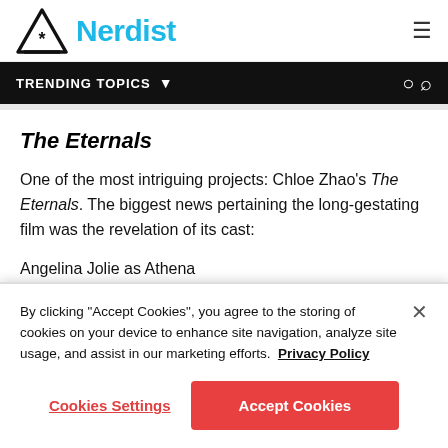[Figure (logo): Nerdist logo with triangle/asterisk icon and cyan text]
TRENDING TOPICS ▼
The Eternals
One of the most intriguing projects: Chloe Zhao's The Eternals. The biggest news pertaining the long-gestating film was the revelation of its cast:
Angelina Jolie as Athena
Richard Madden as Ikaris
By clicking "Accept Cookies", you agree to the storing of cookies on your device to enhance site navigation, analyze site usage, and assist in our marketing efforts. Privacy Policy
Cookies Settings | Accept Cookies